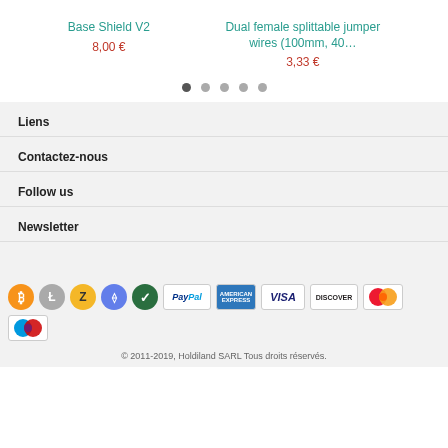Base Shield V2
8,00 €
Dual female splittable jumper wires (100mm, 40…
3,33 €
Liens
Contactez-nous
Follow us
Newsletter
[Figure (logo): Cryptocurrency and payment method icons: Bitcoin, Litecoin, Zcash, Ethereum, Verified, PayPal, American Express, VISA, Discover, Mastercard, Maestro]
© 2011-2019, Holdiland SARL Tous droits réservés.